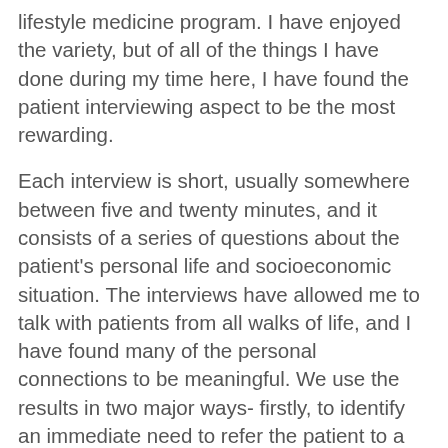lifestyle medicine program. I have enjoyed the variety, but of all of the things I have done during my time here, I have found the patient interviewing aspect to be the most rewarding.
Each interview is short, usually somewhere between five and twenty minutes, and it consists of a series of questions about the patient's personal life and socioeconomic situation. The interviews have allowed me to talk with patients from all walks of life, and I have found many of the personal connections to be meaningful. We use the results in two major ways- firstly, to identify an immediate need to refer the patient to a community resource, and also to build larger datasets to improve our programs and identify unmet needs at the patient population level. Being involved in both the development and interviewing aspects of these projects has helped me to better understand the steps involved in implementing a new program and